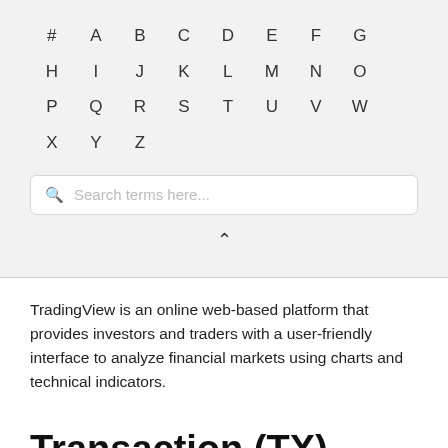# A B C D E F G H I J K L M N O P Q R S T U V W X Y Z
[Figure (other): Search box with magnifying glass icon and placeholder text 'Search terms here...']
TradingView is an online web-based platform that provides investors and traders with a user-friendly interface to analyze financial markets using charts and technical indicators.
Transaction (TX)